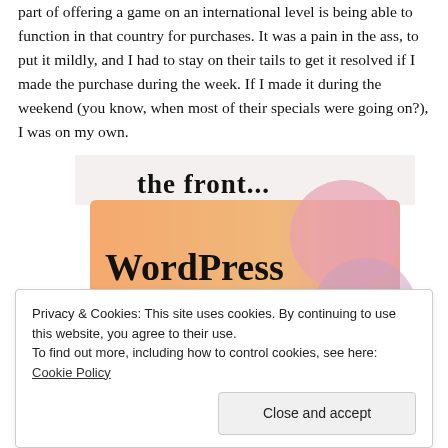part of offering a game on an international level is being able to function in that country for purchases. It was a pain in the ass, to put it mildly, and I had to stay on their tails to get it resolved if I made the purchase during the week. If I made it during the weekend (you know, when most of their specials were going on?), I was on my own.
[Figure (screenshot): A promotional image with text 'the front...' at the top and 'WordPress in the back.' on an orange/peach gradient background with pink/mauve circular shapes.]
Privacy & Cookies: This site uses cookies. By continuing to use this website, you agree to their use.
To find out more, including how to control cookies, see here: Cookie Policy